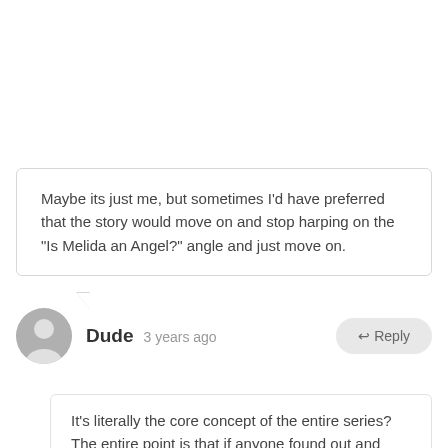Maybe its just me, but sometimes I'd have preferred that the story would move on and stop harping on the "Is Melida an Angel?" angle and just move on.
Dude  3 years ago
↩ Reply
It's literally the core concept of the entire series? The entire point is that if anyone found out and took advantage of the information she'd end up disowned and at best shuffled off to an orphanage if not outright killed.